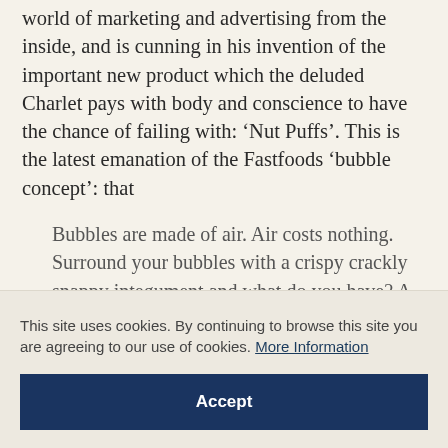world of marketing and advertising from the inside, and is cunning in his invention of the important new product which the deluded Charlet pays with body and conscience to have the chance of failing with: 'Nut Puffs'. This is the latest emanation of the Fastfoods 'bubble concept': that
Bubbles are made of air. Air costs nothing. Surround your bubbles with a crispy crackly snappy integument and what do you have? A great big profit on every bag you sell.
This site uses cookies. By continuing to browse this site you are agreeing to our use of cookies. More Information
Accept